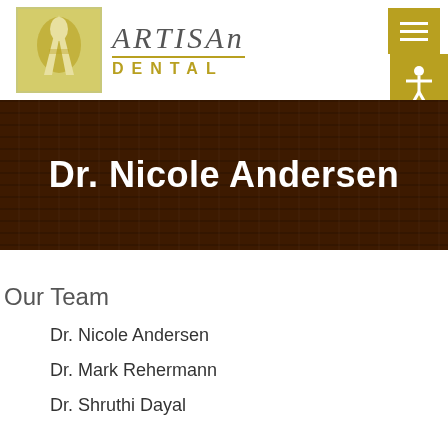[Figure (logo): Artisan Dental logo with stylized 'A' icon in yellow-green square and text 'ARTISAN DENTAL']
Dr. Nicole Andersen
Our Team
Dr. Nicole Andersen
Dr. Mark Rehermann
Dr. Shruthi Dayal